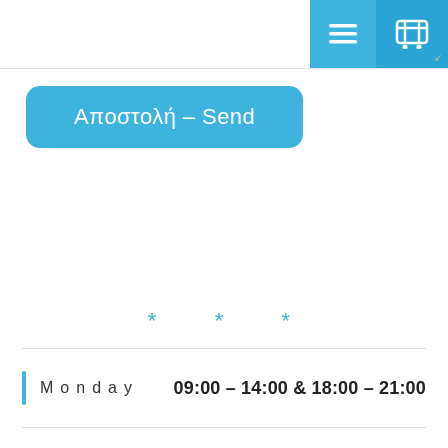[Figure (screenshot): Top navigation bar with menu (hamburger) and cart icon buttons in blue]
Αποστολή – Send
* * *
| Day | Hours |
| --- | --- |
| Monday | 09:00 – 14:00 & 18:00 – 21:00 |
| Tuesday | 09:00 – 14:00 & 18:00 – 21:00 |
| Wednesday | 09:00 – 14:00 & 18:00 – 21:00 |